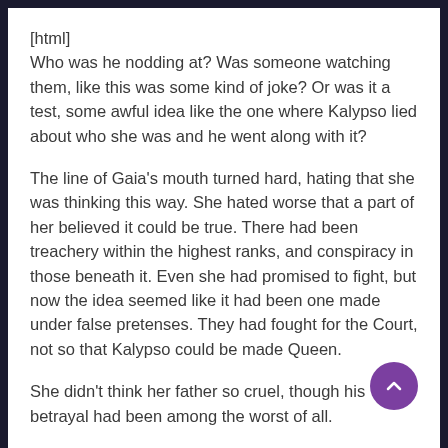[html]
Who was he nodding at? Was someone watching them, like this was some kind of joke? Or was it a test, some awful idea like the one where Kalypso lied about who she was and he went along with it?
The line of Gaia's mouth turned hard, hating that she was thinking this way. She hated worse that a part of her believed it could be true. There had been treachery within the highest ranks, and conspiracy in those beneath it. Even she had promised to fight, but now the idea seemed like it had been one made under false pretenses. They had fought for the Court, not so that Kalypso could be made Queen.
She didn't think her father so cruel, though his betrayal had been among the worst of all.
You were the King, she heard herself say. How long had it been since she accepted their new ruler? It was fine, she supposed. Her elder siblings had not made war over the matter, even if Serena had begun acting as if they were all